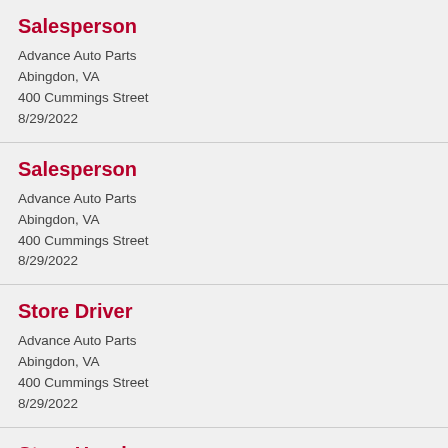Salesperson
Advance Auto Parts
Abingdon, VA
400 Cummings Street
8/29/2022
Salesperson
Advance Auto Parts
Abingdon, VA
400 Cummings Street
8/29/2022
Store Driver
Advance Auto Parts
Abingdon, VA
400 Cummings Street
8/29/2022
Store Hourly
Advance Auto Parts
Abingdon, VA
400 Cummings Street
8/17/2022